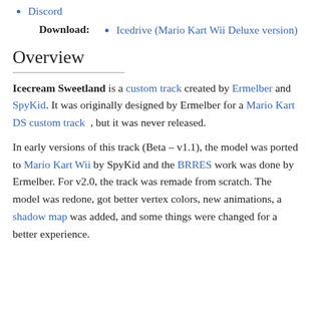Discord
Icedrive (Mario Kart Wii Deluxe version)
Overview
Icecream Sweetland is a custom track created by Ermelber and SpyKid. It was originally designed by Ermelber for a Mario Kart DS custom track , but it was never released.
In early versions of this track (Beta – v1.1), the model was ported to Mario Kart Wii by SpyKid and the BRRES work was done by Ermelber. For v2.0, the track was remade from scratch. The model was redone, got better vertex colors, new animations, a shadow map was added, and some things were changed for a better experience.